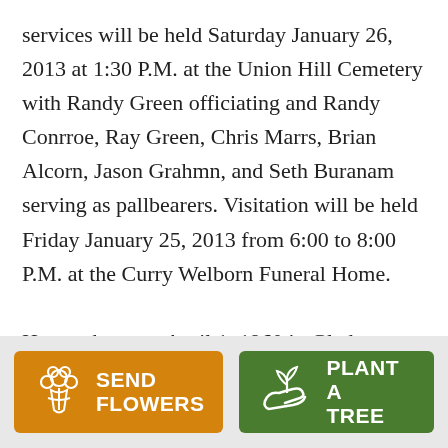services will be held Saturday January 26, 2013 at 1:30 P.M. at the Union Hill Cemetery with Randy Green officiating and Randy Conrroe, Ray Green, Chris Marrs, Brian Alcorn, Jason Grahmn, and Seth Buranam serving as pallbearers. Visitation will be held Friday January 25, 2013 from 6:00 to 8:00 P.M. at the Curry Welborn Funeral Home.
He was born on April 1, 1960 in Gladewater, the only son of Ida and Russell Roach. Mr. Roach was a Deputy Constable for Franklin County and served in Law Enforcement.
[Figure (infographic): Two call-to-action buttons: 'SEND FLOWERS' on an orange background with a flower icon, and 'PLANT A TREE' on a green background with a plant/hand icon.]